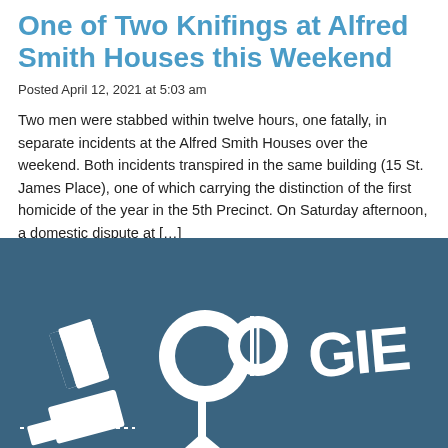One of Two Knifings at Alfred Smith Houses this Weekend
Posted April 12, 2021 at 5:03 am
Two men were stabbed within twelve hours, one fatally, in separate incidents at the Alfred Smith Houses over the weekend. Both incidents transpired in the same building (15 St. James Place), one of which carrying the distinction of the first homicide of the year in the 5th Precinct. On Saturday afternoon, a domestic dispute at [...]
[Figure (logo): BOOGIE logo in white stylized graffiti lettering on a dark blue/steel background]